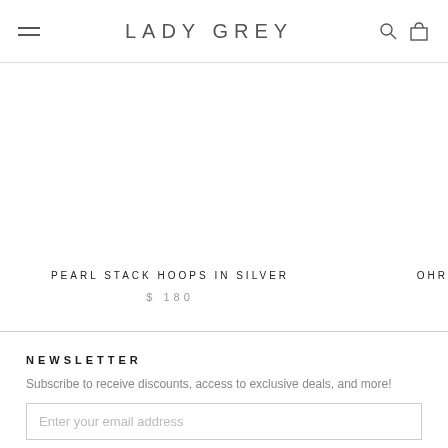LADY GREY
PEARL STACK HOOPS IN SILVER
$ 180
OHR
NEWSLETTER
Subscribe to receive discounts, access to exclusive deals, and more!
Enter your email address
SUBSCRIBE